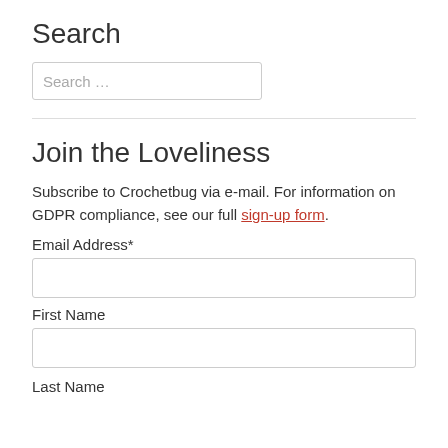Search
Search …
Join the Loveliness
Subscribe to Crochetbug via e-mail. For information on GDPR compliance, see our full sign-up form.
Email Address*
First Name
Last Name